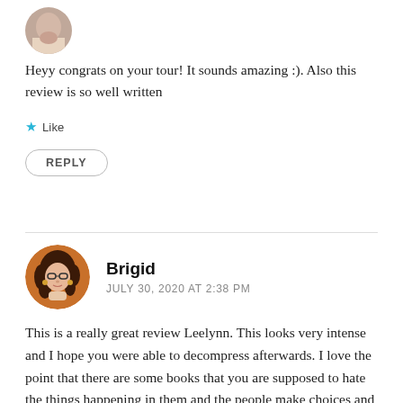[Figure (photo): Circular avatar photo of a person, partially visible at top of page]
Heyy congrats on your tour! It sounds amazing :). Also this review is so well written
★ Like
REPLY
[Figure (illustration): Circular avatar illustration of Brigid - a woman with curly hair and glasses, orange/brown tones]
Brigid
JULY 30, 2020 AT 2:38 PM
This is a really great review Leelynn. This looks very intense and I hope you were able to decompress afterwards. I love the point that there are some books that you are supposed to hate the things happening in them and the people make choices and say things you would never want anyone to do or say. I think